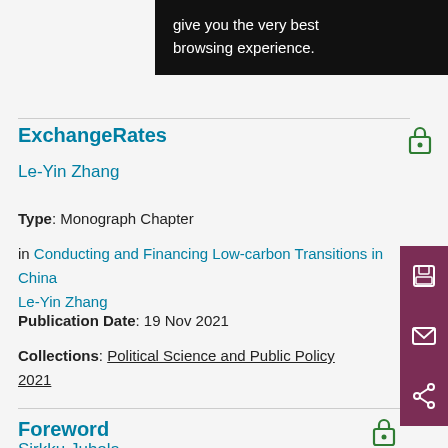give you the very best browsing experience.
ExchangeRates
Le-Yin Zhang
Type:  Monograph Chapter
in Conducting and Financing Low-carbon Transitions in China Le-Yin Zhang
Publication Date:  19 Nov 2021
Collections:  Political Science and Public Policy 2021
Foreword
Sirkku Juhola